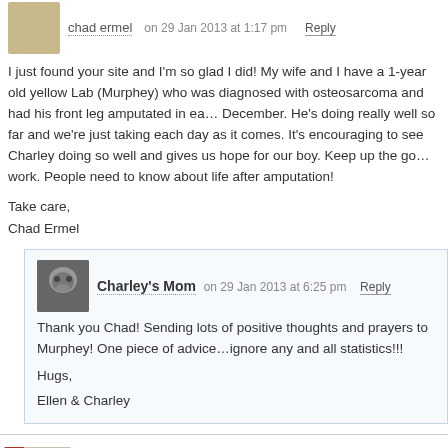chad ermel on 29 Jan 2013 at 1:17 pm Reply
I just found your site and I'm so glad I did! My wife and I have a 1-year old yellow Lab (Murphey) who was diagnosed with osteosarcoma and had his front leg amputated in early December. He's doing really well so far and we're just taking each day as it comes. It's encouraging to see Charley doing so well and gives us hope for our boy. Keep up the good work. People need to know about life after amputation!
Take care,
Chad Ermel
Charley's Mom on 29 Jan 2013 at 6:25 pm Reply
Thank you Chad! Sending lots of positive thoughts and prayers to Murphey! One piece of advice…ignore any and all statistics!!!
Hugs,
Ellen & Charley
belai123 on 29 Jan 2013 at 2:18 pm Reply
This is wonderful. My Louie is 3 months since amputation and going. How wonderful